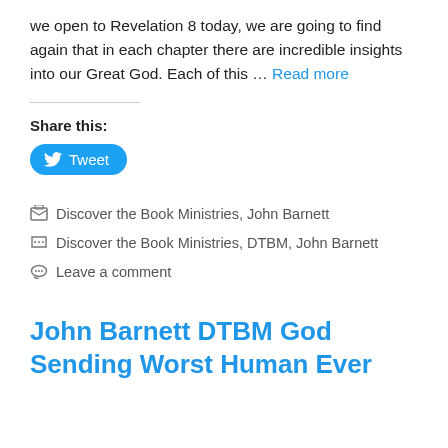we open to Revelation 8 today, we are going to find again that in each chapter there are incredible insights into our Great God. Each of this … Read more
Share this:
[Figure (other): Twitter Tweet button — blue pill-shaped button with bird icon and 'Tweet' text]
Discover the Book Ministries, John Barnett
Discover the Book Ministries, DTBM, John Barnett
Leave a comment
John Barnett DTBM God Sending Worst Human Ever